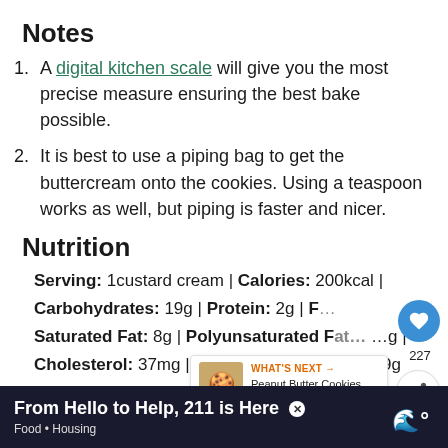Notes
A digital kitchen scale will give you the most precise measure ensuring the best bake possible.
It is best to use a piping bag to get the buttercream onto the cookies. Using a teaspoon works as well, but piping is faster and nicer.
Nutrition
Serving: 1custard cream | Calories: 200kcal | Carbohydrates: 19g | Protein: 2g | Fat: ... | Saturated Fat: 8g | Polyunsaturated Fat: ...g | Cholesterol: 37mg | Sodium: 30mg | Sugar: 9g
[Figure (infographic): Like button (blue circle with heart icon), count 227, share button]
[Figure (infographic): What's Next promo: Peanut Butter Cookies thumbnail and text]
From Hello to Help, 211 is Here — Food • Housing